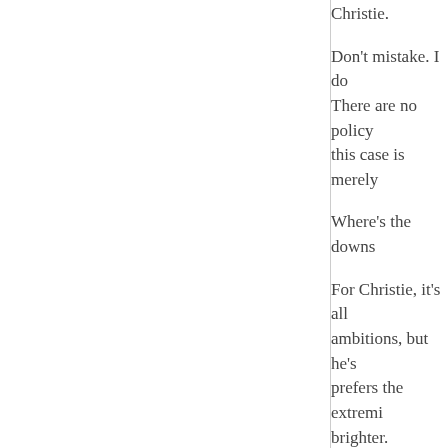Christie.
Don't mistake. I do... There are no policy... this case is merely...
Where's the downs...
For Christie, it's all... ambitions, but he's... prefers the extremi... brighter.
Only about a year a... assuming that a few... years as veep woul... there's no veep like...
For Hillary Clinton... be a unity ticket if... statement to all ram...